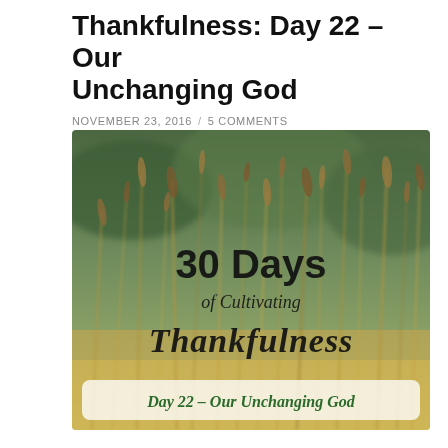Thankfulness: Day 22 – Our Unchanging God
NOVEMBER 23, 2016 / 5 COMMENTS
[Figure (photo): A nature photograph of tall dried grass and wildflower stems with a blurred green background. Overlaid text reads: '30 Days of Cultivating Thankfulness' in bold/script fonts, and below in green italic text on a white band: 'Day 22 – Our Unchanging God']